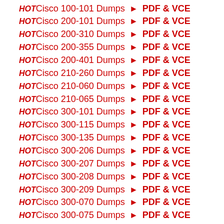HOT Cisco 100-101 Dumps ► PDF & VCE
HOT Cisco 200-101 Dumps ► PDF & VCE
HOT Cisco 200-310 Dumps ► PDF & VCE
HOT Cisco 200-355 Dumps ► PDF & VCE
HOT Cisco 200-401 Dumps ► PDF & VCE
HOT Cisco 210-260 Dumps ► PDF & VCE
HOT Cisco 210-060 Dumps ► PDF & VCE
HOT Cisco 210-065 Dumps ► PDF & VCE
HOT Cisco 300-101 Dumps ► PDF & VCE
HOT Cisco 300-115 Dumps ► PDF & VCE
HOT Cisco 300-135 Dumps ► PDF & VCE
HOT Cisco 300-206 Dumps ► PDF & VCE
HOT Cisco 300-207 Dumps ► PDF & VCE
HOT Cisco 300-208 Dumps ► PDF & VCE
HOT Cisco 300-209 Dumps ► PDF & VCE
HOT Cisco 300-070 Dumps ► PDF & VCE
HOT Cisco 300-075 Dumps ► PDF & VCE
HOT Cisco 300-080 Dumps ► PDF & VCE
HOT Cisco 300-085 Dumps ► PDF & VCE